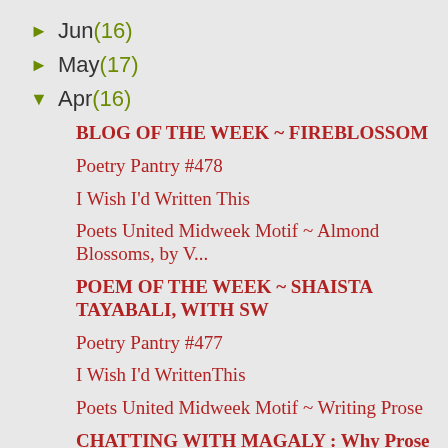► Jun (16)
► May (17)
▼ Apr (16)
BLOG OF THE WEEK ~ FIREBLOSSOM
Poetry Pantry #478
I Wish I'd Written This
Poets United Midweek Motif ~ Almond Blossoms, by V...
POEM OF THE WEEK ~ SHAISTA TAYABALI, WITH SW
Poetry Pantry #477
I Wish I'd WrittenThis
Poets United Midweek Motif ~ Writing Prose
CHATTING WITH MAGALY : Why Prose at Poets United?
Poetry Pantry #446
Moonlight Musings
Poets United Midweek Motif ~ Temptation